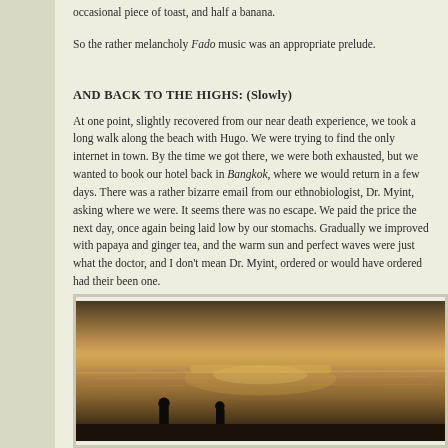occasional piece of toast, and half a banana.
So the rather melancholy Fado music was an appropriate prelude.
AND BACK TO THE HIGHS: (Slowly)
At one point, slightly recovered from our near death experience, we took a long walk along the beach with Hugo. We were trying to find the only internet in town. By the time we got there, we were both exhausted, but we wanted to book our hotel back in Bangkok, where we would return in a few days. There was a rather bizarre email from our ethnobiologist, Dr. Myint, asking where we were. It seems there was no escape. We paid the price the next day, once again being laid low by our stomachs. Gradually we improved with papaya and ginger tea, and the warm sun and perfect waves were just what the doctor, and I don't mean Dr. Myint, ordered or would have ordered had their been one.
[Figure (photo): Silhouettes of two people standing in shallow water at sunset/golden hour, with light reflecting off the water surface creating a shimmering golden effect.]